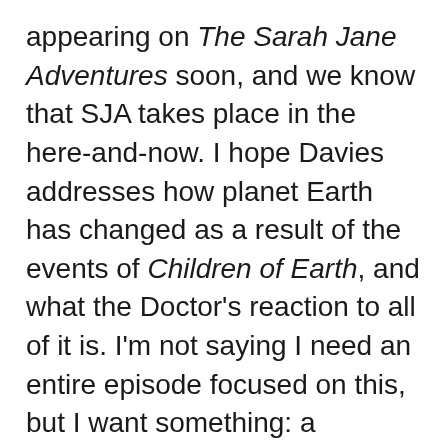appearing on The Sarah Jane Adventures soon, and we know that SJA takes place in the here-and-now. I hope Davies addresses how planet Earth has changed as a result of the events of Children of Earth, and what the Doctor's reaction to all of it is. I'm not saying I need an entire episode focused on this, but I want something: a comment, a sad face, something…
Oh, we're not so bad, though, are we? I keep thinking about Ianto's sister, telling her son to run to the neighbor's and let her know that she — Ianto's sister — will